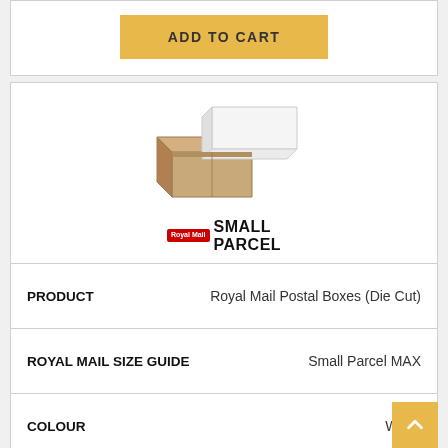ADD TO CART
[Figure (photo): White cardboard box open, showing brown interior, with Royal Mail Small Parcel branding below]
| Property | Value |
| --- | --- |
| PRODUCT | Royal Mail Postal Boxes (Die Cut) |
| ROYAL MAIL SIZE GUIDE | Small Parcel MAX |
| COLOUR | White |
| CLASS | Small Parcel |
| SIZE IN INCHES | 16x14x3 |
| SIZE IN MM | 440x349x75 |